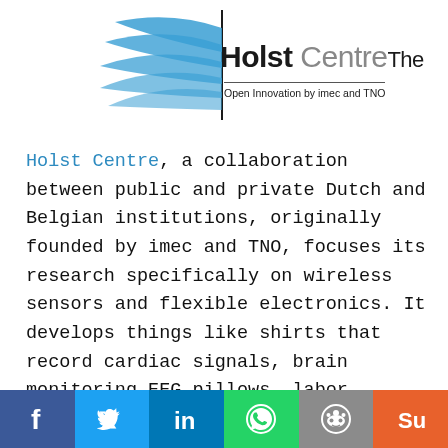[Figure (logo): Holst Centre logo with blue feather/leaf graphic and text 'Holst Centre The Open Innovation by imec and TNO']
Holst Centre, a collaboration between public and private Dutch and Belgian institutions, originally founded by imec and TNO, focuses its research specifically on wireless sensors and flexible electronics. It develops things like shirts that record cardiac signals, brain monitoring EEG pillows, labor contraction trackers, and even electronic underwear to help control urinary incontinence. Moreover, Holst seems to be an incubator for new technology companies that focus on any type of body sensing.  It has over two hundred staff, 35 students, and 40 industry residents working on
[Figure (infographic): Social media share bar with Facebook, Twitter, LinkedIn, WhatsApp, Reddit, and StumbleUpon buttons]